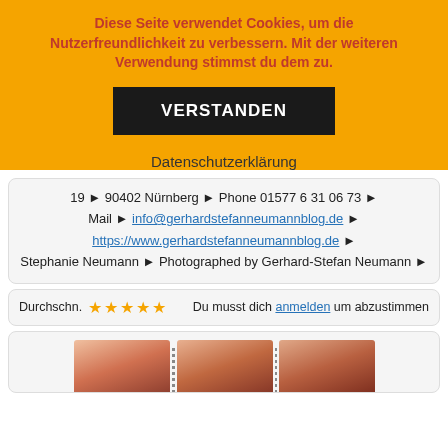Diese Seite verwendet Cookies, um die Nutzerfreundlichkeit zu verbessern. Mit der weiteren Verwendung stimmst du dem zu.
VERSTANDEN
Datenschutzerklärung
19 ► 90402 Nürnberg ► Phone 01577 6 31 06 73 ► Mail ► info@gerhardstefanneumannblog.de ► https://www.gerhardstefanneumannblog.de ► Stephanie Neumann ► Photographed by Gerhard-Stefan Neumann ►
Durchschn. ★★★★★ Du musst dich anmelden um abzustimmen
[Figure (photo): Three portrait photos of a red-haired woman arranged in a strip]